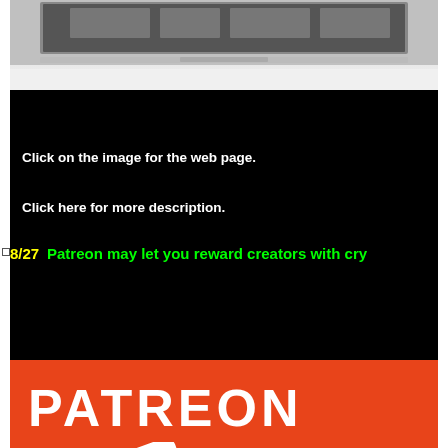[Figure (photo): Top portion of a laptop computer, silver/gray colored, viewed from above, partially cropped]
[Figure (screenshot): Black panel background with white bold text saying 'Click on the image for the web page.' and 'Click here for more description.' and a news headline in yellow/green text reading '8/27 Patreon may let you reward creators with cry...']
Click on the image for the web page.
Click here for more description.
8/27  Patreon may let you reward creators with cry
[Figure (photo): Patreon logo image on orange/red background showing the word PATREON in large white letters and a smartphone displaying the Patreon app icon]